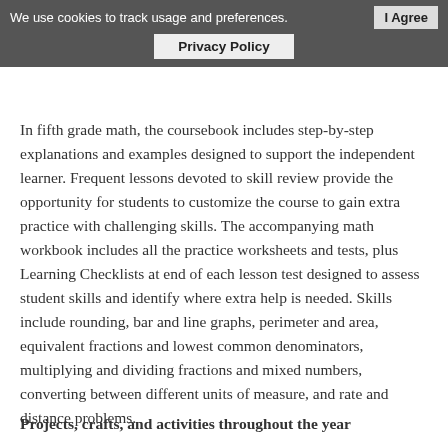anatomy and astronomy, and lay the groundwork for more extensive scientific study in the upper grades.
In fifth grade math, the coursebook includes step-by-step explanations and examples designed to support the independent learner. Frequent lessons devoted to skill review provide the opportunity for students to customize the course to gain extra practice with challenging skills. The accompanying math workbook includes all the practice worksheets and tests, plus Learning Checklists at end of each lesson test designed to assess student skills and identify where extra help is needed. Skills include rounding, bar and line graphs, perimeter and area, equivalent fractions and lowest common denominators, multiplying and dividing fractions and mixed numbers, converting between different units of measure, and rate and distance problems.
Projects, crafts, and activities throughout the year